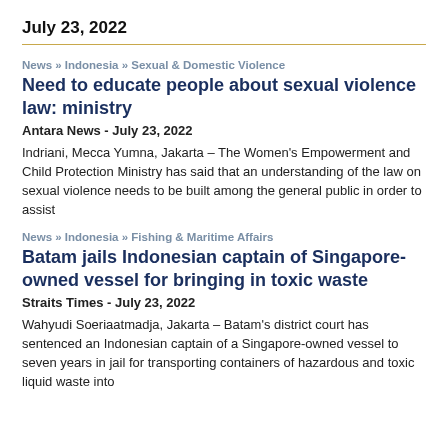July 23, 2022
News >> Indonesia >> Sexual & Domestic Violence
Need to educate people about sexual violence law: ministry
Antara News - July 23, 2022
Indriani, Mecca Yumna, Jakarta – The Women's Empowerment and Child Protection Ministry has said that an understanding of the law on sexual violence needs to be built among the general public in order to assist
News >> Indonesia >> Fishing & Maritime Affairs
Batam jails Indonesian captain of Singapore-owned vessel for bringing in toxic waste
Straits Times - July 23, 2022
Wahyudi Soeriaatmadja, Jakarta – Batam's district court has sentenced an Indonesian captain of a Singapore-owned vessel to seven years in jail for transporting containers of hazardous and toxic liquid waste into